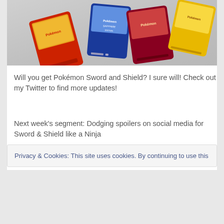[Figure (photo): Photo of multiple Pokemon Game Boy Advance cartridges scattered on a light gray surface, including red, blue, dark red, and yellow cartridges with Pokemon branding]
Will you get Pokémon Sword and Shield? I sure will! Check out my Twitter to find more updates!
Next week's segment: Dodging spoilers on social media for Sword & Shield like a Ninja
Stay tuned, thanks for reading and happy gaming!
Privacy & Cookies: This site uses cookies. By continuing to use this